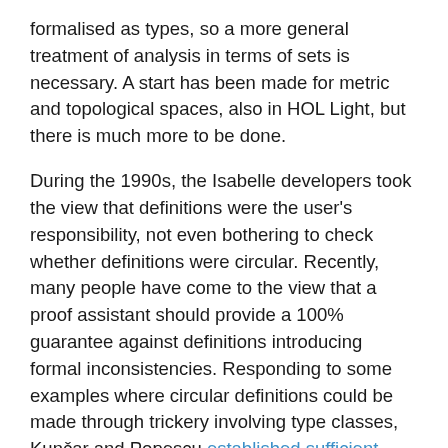formalised as types, so a more general treatment of analysis in terms of sets is necessary. A start has been made for metric and topological spaces, also in HOL Light, but there is much more to be done.
During the 1990s, the Isabelle developers took the view that definitions were the user's responsibility, not even bothering to check whether definitions were circular. Recently, many people have come to the view that a proof assistant should provide a 100% guarantee against definitions introducing formal inconsistencies. Responding to some examples where circular definitions could be made through trickery involving type classes, Kunčar and Popescu established sufficient conditions for ensuring the non-circularity of any system of overloaded definitions and type definitions. These checks have been incorporated into Isabelle/HOL since 2016. But you still need to take responsibility for your definitions: if they are wrong, all